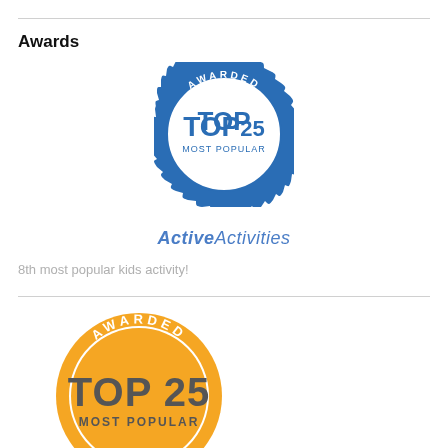Awards
[Figure (illustration): Blue scalloped badge reading AWARDED / TOP25 / MOST POPULAR / 2016 from ActiveActivities]
ActiveActivities
8th most popular kids activity!
[Figure (illustration): Orange scalloped badge reading AWARDED / TOP 25 / MOST POPULAR / 2015 (partially visible at bottom of page)]